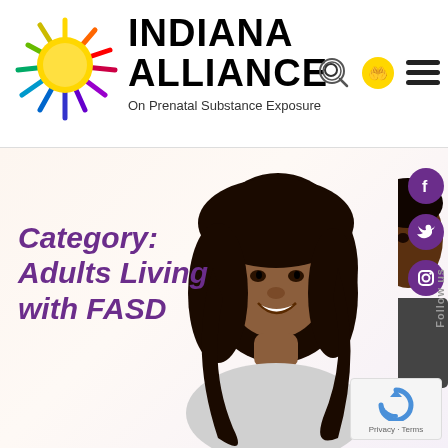[Figure (logo): Indiana Alliance on Prenatal Substance Exposure logo with colorful sun graphic and bold text]
[Figure (screenshot): Hero banner image with smiling woman and man, social media icons (Facebook, Twitter, Instagram), 'Follow us' text, and reCAPTCHA badge. Category label reads 'Category: Adults Living with FASD' in bold purple italic.]
Category: Adults Living with FASD